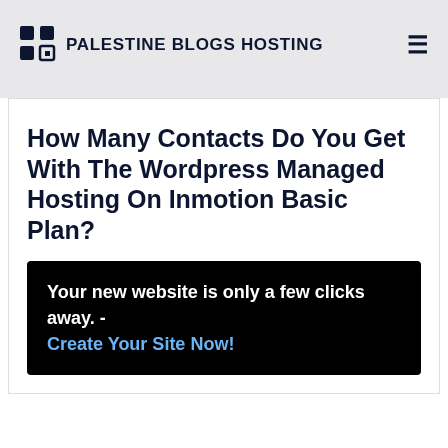PALESTINE BLOGS HOSTING
How Many Contacts Do You Get With The Wordpress Managed Hosting On Inmotion Basic Plan?
Your new website is only a few clicks away. - Create Your Site Now!